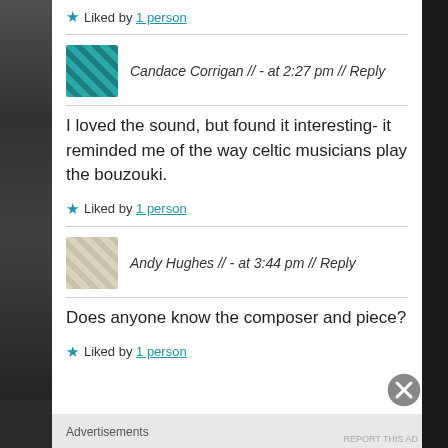★ Liked by 1 person
Candace Corrigan // - at 2:27 pm // Reply
I loved the sound, but found it interesting- it reminded me of the way celtic musicians play the bouzouki.
★ Liked by 1 person
Andy Hughes // - at 3:44 pm // Reply
Does anyone know the composer and piece?
★ Liked by 1 person
Advertisements